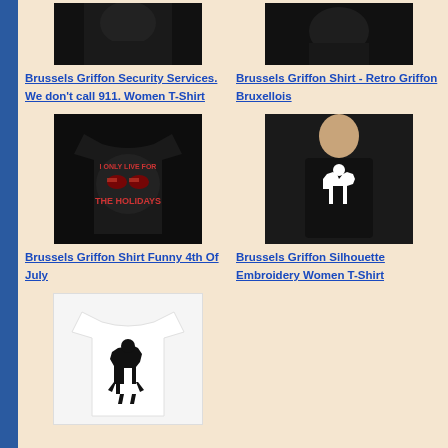[Figure (photo): Black t-shirt product image - Brussels Griffon Security Services top]
Brussels Griffon Security Services. We don't call 911. Women T-Shirt
[Figure (photo): Black t-shirt - Brussels Griffon Retro Bruxellois]
Brussels Griffon Shirt - Retro Griffon Bruxellois
[Figure (photo): Black t-shirt with 4th of July themed Brussels Griffon graphic]
Brussels Griffon Shirt Funny 4th Of July
[Figure (photo): Woman wearing black t-shirt with white Brussels Griffon silhouette]
Brussels Griffon Silhouette Embroidery Women T-Shirt
[Figure (photo): White t-shirt with black Brussels Griffon dog silhouette]